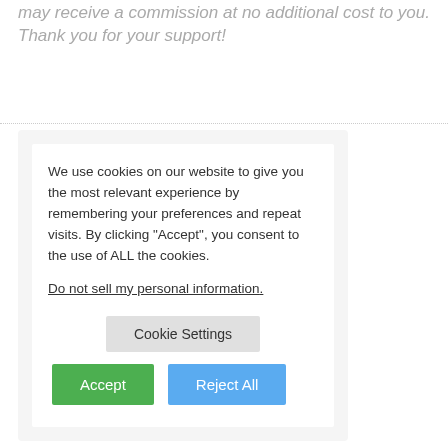may receive a commission at no additional cost to you. Thank you for your support!
We use cookies on our website to give you the most relevant experience by remembering your preferences and repeat visits. By clicking “Accept”, you consent to the use of ALL the cookies.

Do not sell my personal information.

Cookie Settings

Accept

Reject All